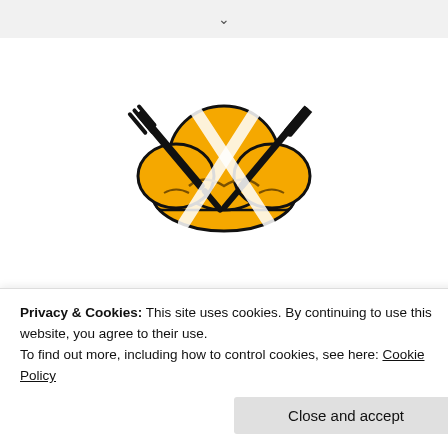[Figure (logo): Chef hat with crossed fork and knife logo for 'My Culinary' website]
My Culinary
Privacy & Cookies: This site uses cookies. By continuing to use this website, you agree to their use.
To find out more, including how to control cookies, see here: Cookie Policy
Close and accept